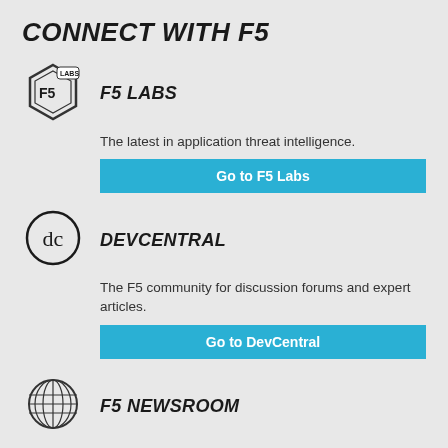CONNECT WITH F5
[Figure (logo): F5 Labs hexagon logo icon]
F5 LABS
The latest in application threat intelligence.
Go to F5 Labs
[Figure (logo): DevCentral dc circle logo icon]
DEVCENTRAL
The F5 community for discussion forums and expert articles.
Go to DevCentral
[Figure (logo): Globe/world icon for F5 Newsroom]
F5 NEWSROOM
News, F5 blogs, and more.